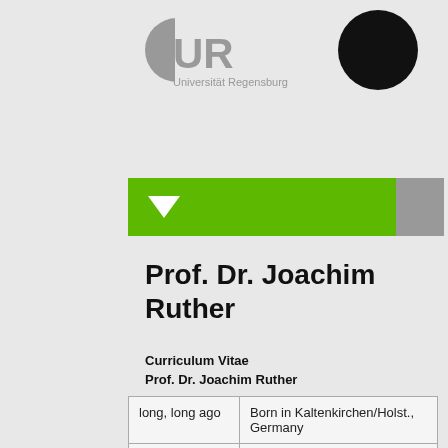[Figure (logo): Universität Regensburg logo with grey UR letters and text 'Universität Regensburg']
[Figure (illustration): Black filled circle in upper right corner]
[Figure (infographic): Green horizontal bar with white downward-pointing triangle on left and grey section on right]
Prof. Dr. Joachim Ruther
Curriculum Vitae
Prof. Dr. Joachim Ruther
| long, long ago | Born in Kaltenkirchen/Holst., Germany |
| 1983-1988 | Study of Food Chemistry at the Technical University of Berlin |